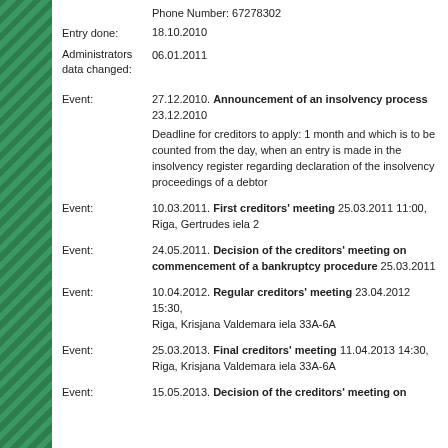Phone Number: 67278302
Entry done: 18.10.2010
Administrators data changed: 06.01.2011
Event: 27.12.2010. Announcement of an insolvency process 23.12.2010. Deadline for creditors to apply: 1 month and which is to be counted from the day, when an entry is made in the insolvency register regarding declaration of the insolvency proceedings of a debtor
Event: 10.03.2011. First creditors' meeting 25.03.2011 11:00, Riga, Gertrudes iela 2
Event: 24.05.2011. Decision of the creditors' meeting on commencement of a bankruptcy procedure 25.03.2011
Event: 10.04.2012. Regular creditors' meeting 23.04.2012 15:30, Riga, Krisjana Valdemara iela 33A-6A
Event: 25.03.2013. Final creditors' meeting 11.04.2013 14:30, Riga, Krisjana Valdemara iela 33A-6A
Event: 15.05.2013. Decision of the creditors' meeting on